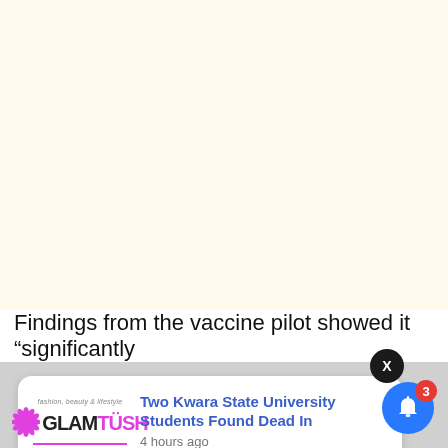[Figure (other): Cream/ivory background area taking up the top portion of the page]
Findings from the vaccine pilot showed it “significantly
[Figure (other): Close button (X) dark circular button overlapping the notification card top]
[Figure (other): Notification card with GlamTush logo on left and news headline on right: 'Two Kwara State University Students Found Dead In', timestamped '4 hours ago']
[Figure (other): Blue bell notification button with red badge showing count 3, positioned bottom right]